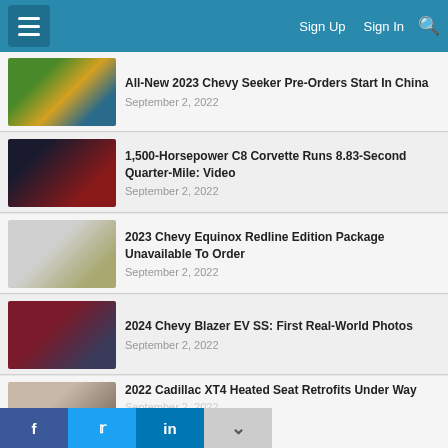Sign Up  Sign In
All-New 2023 Chevy Seeker Pre-Orders Start In China
September 2, 2022
1,500-Horsepower C8 Corvette Runs 8.83-Second Quarter-Mile: Video
September 2, 2022
2023 Chevy Equinox Redline Edition Package Unavailable To Order
September 2, 2022
2024 Chevy Blazer EV SS: First Real-World Photos
September 2, 2022
2022 Cadillac XT4 Heated Seat Retrofits Under Way
September 2, 2022